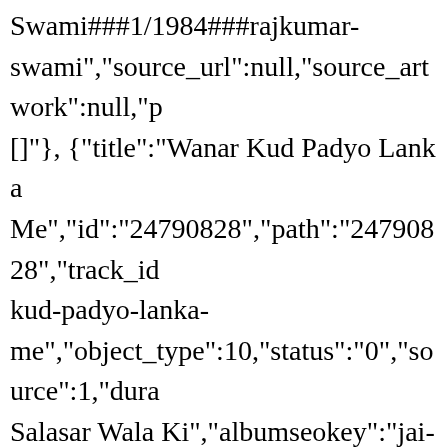Swami###1/1984###rajkumar-swami","source_url":null,"source_artwork":null,"p[]"}, {"title":"Wanar Kud Padyo Lanka Me","id":"24790828","path":"24790828","track_id kud-padyo-lanka-me","object_type":10,"status":"0","source":1,"dura Salasar Wala Ki","albumseokey":"jai-salasar-wala-ki","seokey":"wanar-kud-padyo-lanka-me","artist":"Rajkumar Swami###171984###rajkumar-swami","source_url":null,"source_artwork":null,"p[]"}, {"title":"Tharo Dham Sownu